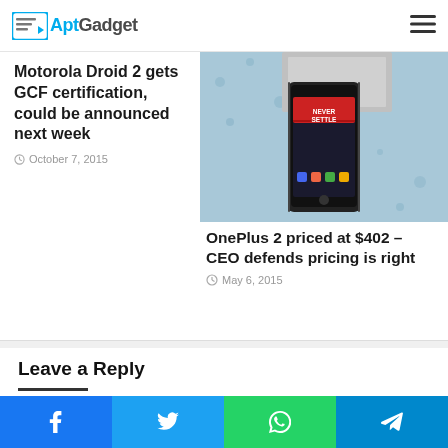AptGadget
Motorola Droid 2 gets GCF certification, could be announced next week
October 7, 2015
[Figure (photo): OnePlus 2 smartphone with 'Never Settle' text on screen, placed on a blue floral surface]
OnePlus 2 priced at $402 – CEO defends pricing is right
May 6, 2015
Leave a Reply
Your email address will not be published. Required fields are marked *